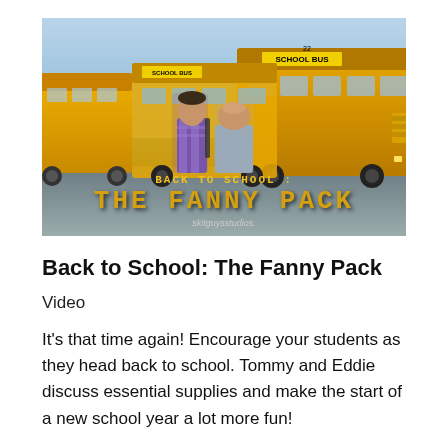[Figure (photo): Thumbnail image for 'Back to School: The Fanny Pack' video by Skit Guys Studios. Two men standing in front of yellow school buses with the title overlaid in stylized text.]
Back to School: The Fanny Pack
Video
It's that time again! Encourage your students as they head back to school. Tommy and Eddie discuss essential supplies and make the start of a new school year a lot more fun!